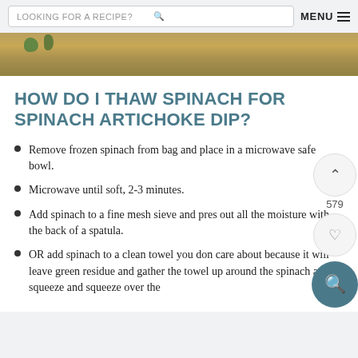LOOKING FOR A RECIPE?   MENU
[Figure (photo): Partial view of a spinach artichoke dip dish with green herbs visible, golden bubbly cheesy top]
HOW DO I THAW SPINACH FOR SPINACH ARTICHOKE DIP?
Remove frozen spinach from bag and place in a microwave safe bowl.
Microwave until soft, 2-3 minutes.
Add spinach to a fine mesh sieve and press out all the moisture with the back of a spatula.
OR add spinach to a clean towel you don't care about because it will leave green residue and gather the towel up around the spinach and squeeze and squeeze over the